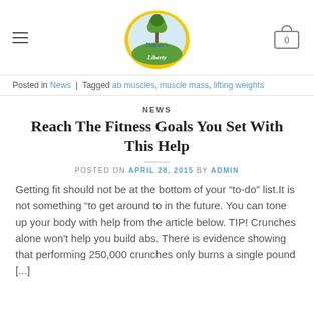Nature's Liberty logo, hamburger menu, cart icon
Posted in News | Tagged ab muscles, muscle mass, lifting weights
NEWS
Reach The Fitness Goals You Set With This Help
POSTED ON APRIL 28, 2015 BY ADMIN
Getting fit should not be at the bottom of your “to-do” list.It is not something “to get around to in the future. You can tone up your body with help from the article below. TIP! Crunches alone won't help you build abs. There is evidence showing that performing 250,000 crunches only burns a single pound [...]